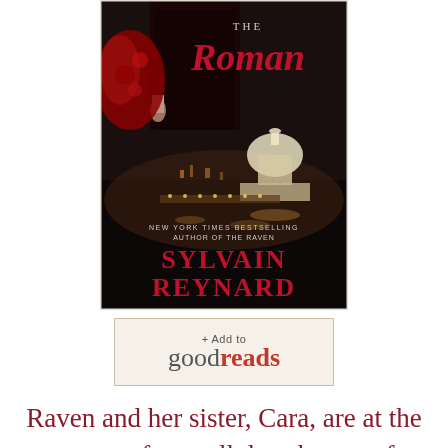[Figure (illustration): Book cover for 'The Roman' by Sylvain Reynard. Shows a couple in dark clothing, a nighttime view of Rome with St. Peter's Basilica in background. Text reads: 'THE Roman', 'NEW YORK TIMES BESTSELLING AUTHOR OF THE RAVEN', 'SYLVAIN REYNARD' in red letters.]
[Figure (logo): Goodreads button: '+ Add to goodreads' with beige/tan background and border.]
Raven and her sister, Cara, are at the mercy of a small detachment of Florentine vampyres, who are delivering them as a